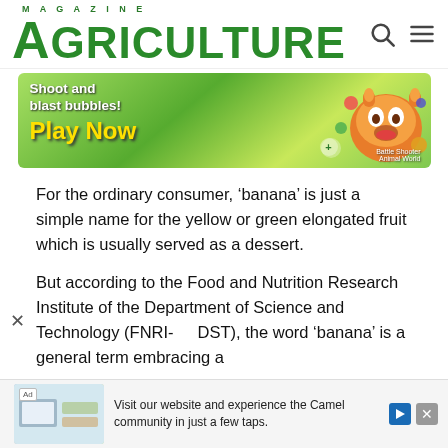MAGAZINE AGRICULTURE
[Figure (illustration): Mobile game advertisement banner: green bubbly background with cartoon fox character, text 'Shoot and blast bubbles! Play Now' and 'Battle Shooter Animal World' branding]
For the ordinary consumer, ‘banana’ is just a simple name for the yellow or green elongated fruit which is usually served as a dessert.
But according to the Food and Nutrition Research Institute of the Department of Science and Technology (FNRI-DST), the word ‘banana’ is a general term embracing a
[Figure (illustration): Bottom advertisement bar: thumbnail image of magazine pages, text 'Visit our website and experience the Camel community in just a few taps.' with Ad label and action icons]